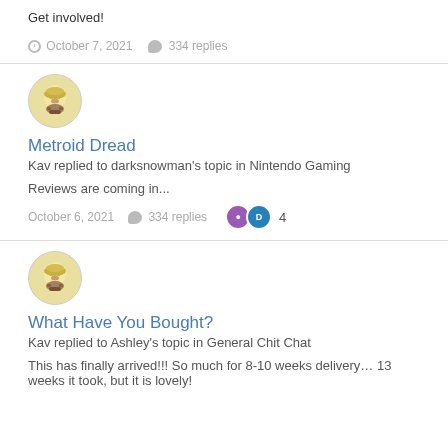Get involved!
October 7, 2021   334 replies
[Figure (illustration): User avatar showing a cartoon face with beard on a round frame]
Metroid Dread
Kav replied to darksnowman's topic in Nintendo Gaming
Reviews are coming in...
October 6, 2021   334 replies   4
[Figure (illustration): User avatar showing a cartoon face with beard on a round frame]
What Have You Bought?
Kav replied to Ashley's topic in General Chit Chat
This has finally arrived!!! So much for 8-10 weeks delivery… 13 weeks it took, but it is lovely!